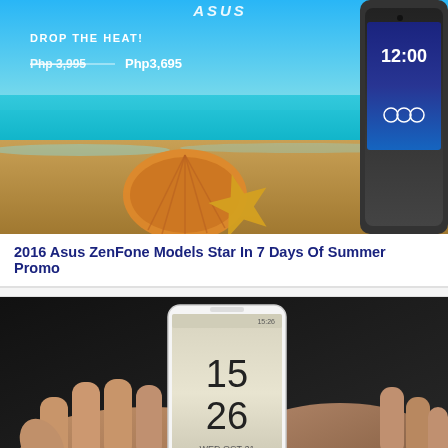[Figure (photo): ASUS ZenFone summer promo ad with beach background showing starfish and seashell, two white ASUS phones displayed, text 'DROP THE HEAT!' and prices Php 3,995 and Php3,695]
2016 Asus ZenFone Models Star In 7 Days Of Summer Promo
[Figure (photo): Hands holding a white Sony smartphone displaying a lock screen with time 15:26 and date WED OCT 21, dark background]